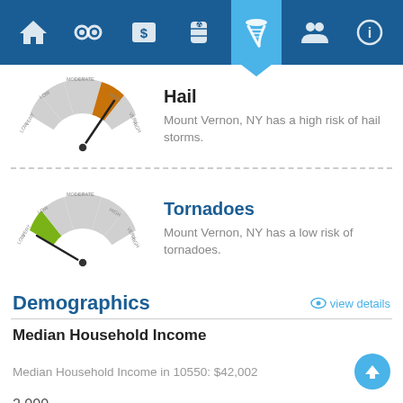Navigation bar with icons: home, handcuffs, dollar, barrel/hazard, tornado (active), people, info
[Figure (other): Gauge meter showing HIGH risk level for Hail, needle pointing to orange/high zone]
Hail
Mount Vernon, NY has a high risk of hail storms.
[Figure (other): Gauge meter showing LOW risk level for Tornadoes, needle pointing to green/low zone]
Tornadoes
Mount Vernon, NY has a low risk of tornadoes.
Demographics
view details
Median Household Income
Median Household Income in 10550: $42,002
2,000